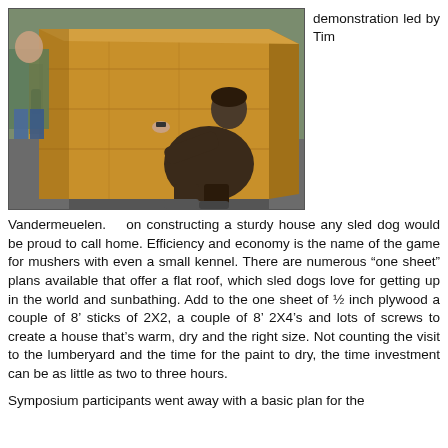[Figure (photo): A person kneeling outdoors examining or demonstrating a wooden dog house structure made of plywood, viewed from above at an angle. The wooden box structure is prominent in the foreground.]
demonstration led by Tim
Vandermeuelen.    on constructing a sturdy house any sled dog would be proud to call home. Efficiency and economy is the name of the game for mushers with even a small kennel. There are numerous “one sheet” plans available that offer a flat roof, which sled dogs love for getting up in the world and sunbathing. Add to the one sheet of ½ inch plywood a couple of 8’ sticks of 2X2, a couple of 8’ 2X4’s and lots of screws to create a house that’s warm, dry and the right size. Not counting the visit to the lumberyard and the time for the paint to dry, the time investment can be as little as two to three hours.
Symposium participants went away with a basic plan for the